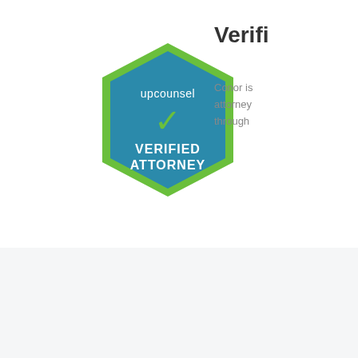[Figure (logo): UpCounsel hexagon badge with green border and teal/blue fill, showing 'upcounsel' text, a green checkmark, and 'VERIFIED ATTORNEY' text in white]
Verifi
Conor is attorney through
Practice Areas